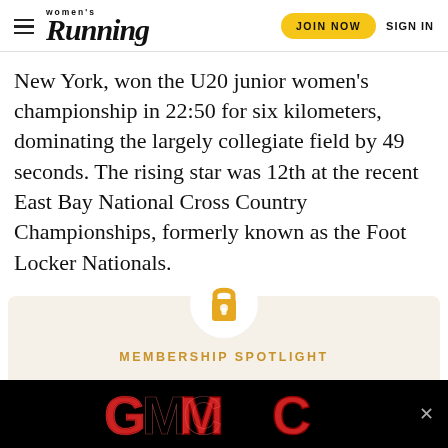women's Running | JOIN NOW | SIGN IN
New York, won the U20 junior women's championship in 22:50 for six kilometers, dominating the largely collegiate field by 49 seconds. The rising star was 12th at the recent East Bay National Cross Country Championships, formerly known as the Foot Locker Nationals.
[Figure (infographic): Membership spotlight box with lock icon, orange 'MEMBERSHIP SPOTLIGHT' label, and bold title text 'Looking to Go Long? These 50K Races Are Great For Beginners']
[Figure (logo): GMC logo advertisement banner on black background with close X button]